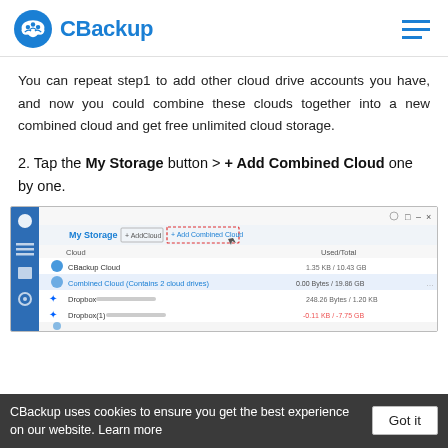CBackup
You can repeat step1 to add other cloud drive accounts you have, and now you could combine these clouds together into a new combined cloud and get free unlimited cloud storage.
2. Tap the My Storage button > + Add Combined Cloud one by one.
[Figure (screenshot): Screenshot of CBackup application showing My Storage panel with Add Combined Cloud button highlighted in red dashed border. Rows show CBackup Cloud, Combined Cloud (Contains 2 cloud drives), Dropbox, and Dropbox(1) entries with Used/Total columns.]
CBackup uses cookies to ensure you get the best experience on our website. Learn more  Got it